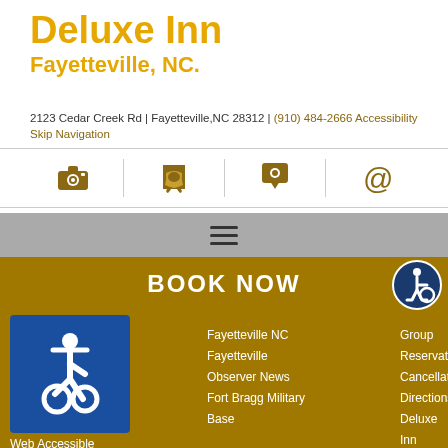Deluxe Inn
Fayetteville, NC.
2123 Cedar Creek Rd | Fayetteville,NC 28312 | (910) 484-2666 Accessibility Skip Navigation
[Figure (infographic): Row of four icons: camera, telephone, map pin, at-sign (@), separated by vertical lines]
[Figure (infographic): Gray navigation bar with hamburger menu icon (three horizontal lines)]
[Figure (infographic): Gold/brown BOOK NOW bar with accessibility badge (wheelchair symbol in blue circle) on the right]
[Figure (infographic): ADA blue wheelchair accessible icon square]
Web Accessible Site
ADA Text Website
ADA Website Compliance
Fayetteville NC
Fayetteville
Observer News
Fort Bragg Military Base
Group
Reservations
Cancellations
Directions Deluxe Inn Fayetteville North Carolina
Photo Gallery
Contact Deluxe Inn Fayetteville North Carolina NC
Privacy Policy